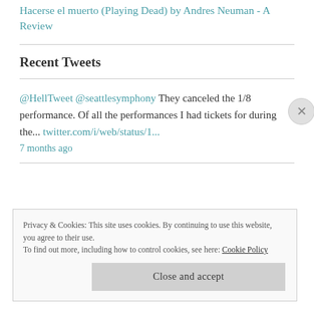Hacerse el muerto (Playing Dead) by Andres Neuman - A Review
Recent Tweets
@HellTweet @seattlesymphony They canceled the 1/8 performance. Of all the performances I had tickets for during the... twitter.com/i/web/status/1...
7 months ago
Privacy & Cookies: This site uses cookies. By continuing to use this website, you agree to their use.
To find out more, including how to control cookies, see here: Cookie Policy
Close and accept